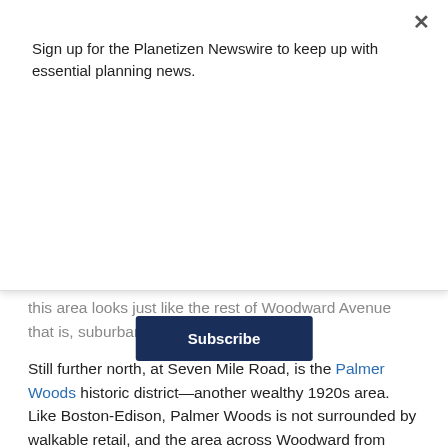Sign up for the Planetizen Newswire to keep up with essential planning news.
Subscribe
this area looks just like the rest of Woodward Avenue that is, suburban and poor.
Still further north, at Seven Mile Road, is the Palmer Woods historic district—another wealthy 1920s area. Like Boston-Edison, Palmer Woods is not surrounded by walkable retail, and the area across Woodward from Palmer Woods looks quite distressed.
Ultimately, the Woodward Avenue bus terminates at a transit center at the city edge, where you can take buses to the suburbs (as I did one morning). The area has separate bus systems for the city and the suburbs; the Detroit Department of Transportation serves the city,